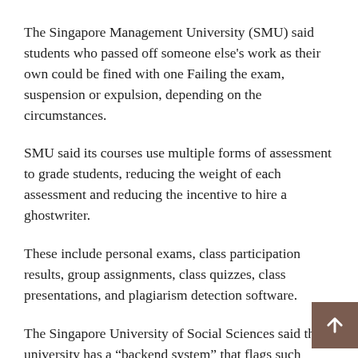The Singapore Management University (SMU) said students who passed off someone else's work as their own could be fined with one Failing the exam, suspension or expulsion, depending on the circumstances.
SMU said its courses use multiple forms of assessment to grade students, reducing the weight of each assessment and reducing the incentive to hire a ghostwriter.
These include personal exams, class participation results, group assignments, class quizzes, class presentations, and plagiarism detection software.
The Singapore University of Social Sciences said the university has a “backend system” that flags such crimes and students who are caught could be expelled.
The Singapore Institute of Management and the Singapore Institute of Technology declined to comment. TODAY reach